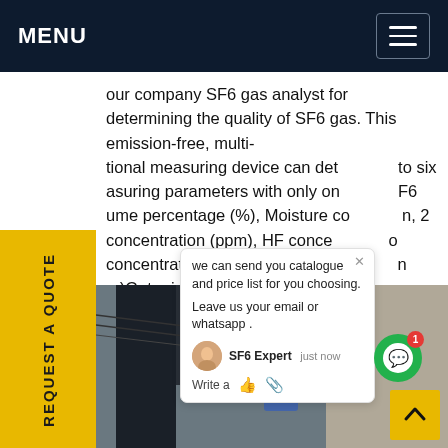MENU
our company SF6 gas analyst for determining the quality of SF6 gas. This emission-free, multi-functional measuring device can determine up to six measuring parameters with only one SF6 volume percentage (%), Moisture content, SOx concentration (ppm), HF concentration (ppm), SO2 concentration (ppm), and CO concentration (ppm)Get price
REQUEST A QUOTE
we can send you catalogue and price list for you choosing. Leave us your email or whatsapp .
SF6 Expert   just now
Write a
[Figure (photo): A worker in a blue hard hat working on electrical equipment outdoors with power lines visible in the background]